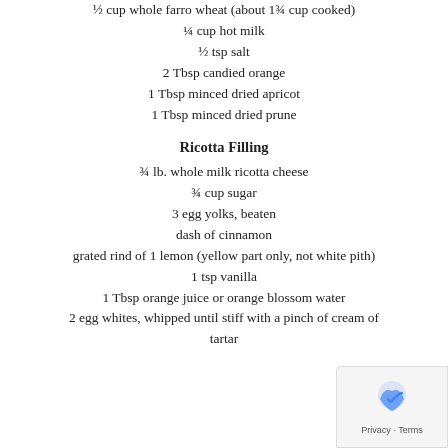½ cup whole farro wheat (about 1¾ cup cooked)
¼ cup hot milk
½ tsp salt
2 Tbsp candied orange
1 Tbsp minced dried apricot
1 Tbsp minced dried prune
Ricotta Filling
¾ lb. whole milk ricotta cheese
¾ cup sugar
3 egg yolks, beaten
dash of cinnamon
grated rind of 1 lemon (yellow part only, not white pith)
1 tsp vanilla
1 Tbsp orange juice or orange blossom water
2 egg whites, whipped until stiff with a pinch of cream of tartar